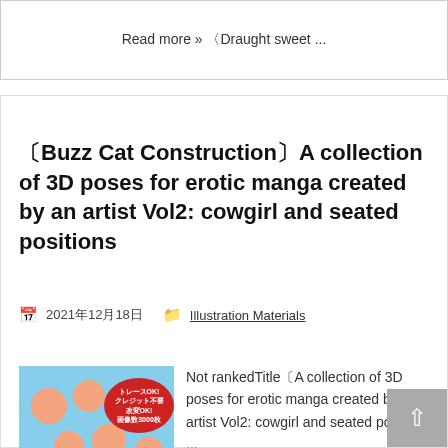Read more » 〈Draught sweet ...
〔Buzz Cat Construction〕A collection of 3D poses for erotic manga created by an artist Vol2: cowgirl and seated positions
📅 2021年12月18日   📁 Illustration Materials
[Figure (photo): Thumbnail image of a 3D pose collection product for erotic manga, showing mannequin-like 3D figures with Japanese text overlay including エロ漫画のための3Dポーズ集. vol]
Not rankedTitle〔A collection of 3D poses for erotic manga created by an artist Vol2: cowgirl and seated position ...